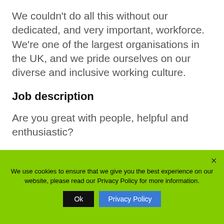We couldn't do all this without our dedicated, and very important, workforce. We're one of the largest organisations in the UK, and we pride ourselves on our diverse and inclusive working culture.
Job description
Are you great with people, helpful and enthusiastic?
We use cookies to ensure that we give you the best experience on our website, please read our Privacy Policy for more information.